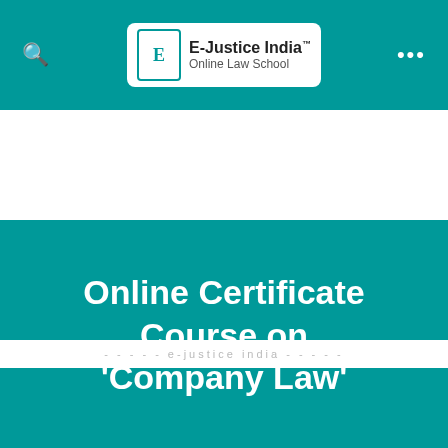E-Justice India Online Law School
Online Certificate Course on 'Company Law'
Online Certificate Course on Basics of Company Law